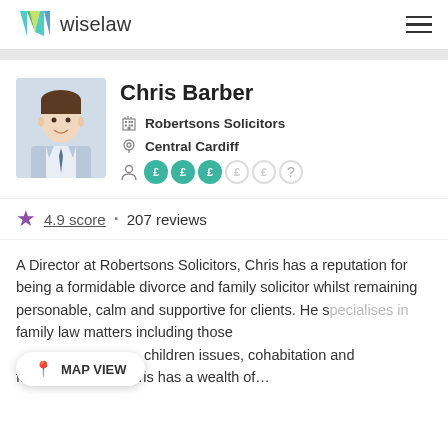wiselaw
[Figure (photo): Profile photo of Chris Barber, a man in a suit smiling]
Chris Barber
Robertsons Solicitors
Central Cardiff
£££££ (cost rating: 3 out of 5 active)
4.9 score · 207 reviews
A Director at Robertsons Solicitors, Chris has a reputation for being a formidable divorce and family solicitor whilst remaining personable, calm and supportive for clients. He specialises in family law matters including those involving children issues, cohabitation and family finances. Chris has a wealth of...